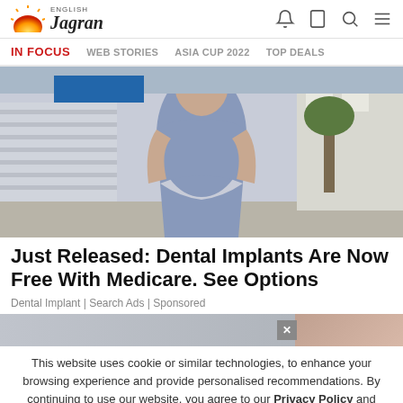English Jagran
IN FOCUS | WEB STORIES | ASIA CUP 2022 | TOP DEALS
[Figure (photo): Woman in grey/blue dress standing outdoors on a sidewalk, with a fence and trees in background]
Just Released: Dental Implants Are Now Free With Medicare. See Options
Dental Implant | Search Ads | Sponsored
This website uses cookie or similar technologies, to enhance your browsing experience and provide personalised recommendations. By continuing to use our website, you agree to our Privacy Policy and Cookie Policy.